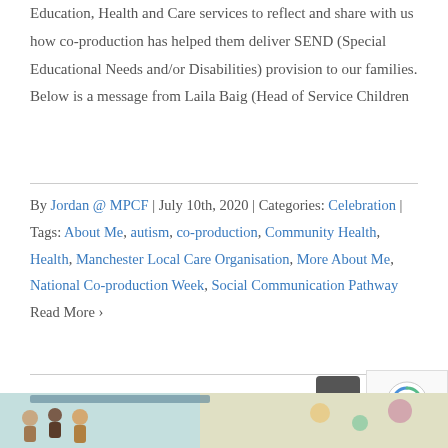Education, Health and Care services to reflect and share with us how co-production has helped them deliver SEND (Special Educational Needs and/or Disabilities) provision to our families. Below is a message from Laila Baig (Head of Service Children
By Jordan @ MPCF | July 10th, 2020 | Categories: Celebration | Tags: About Me, autism, co-production, Community Health, Health, Manchester Local Care Organisation, More About Me, National Co-production Week, Social Communication Pathway
Read More ›
[Figure (illustration): Bottom strip showing a colorful illustration with people figures and decorative elements]